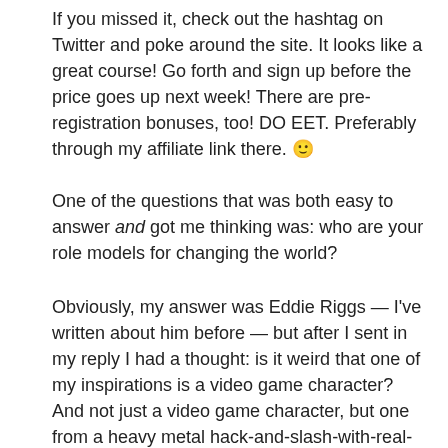If you missed it, check out the hashtag on Twitter and poke around the site. It looks like a great course! Go forth and sign up before the price goes up next week! There are pre-registration bonuses, too! DO EET. Preferably through my affiliate link there. 🙂
One of the questions that was both easy to answer and got me thinking was: who are your role models for changing the world?
Obviously, my answer was Eddie Riggs — I've written about him before — but after I sent in my reply I had a thought: is it weird that one of my inspirations is a video game character? And not just a video game character, but one from a heavy metal hack-and-slash-with-real-time-strategy game? Not to mention he's played by Jack Black, who isn't really known for being all about idealism and changing the world.
But, as I put it in my reply: Eddie saves the world and gets the girl, and all while serving others. His whole existence is